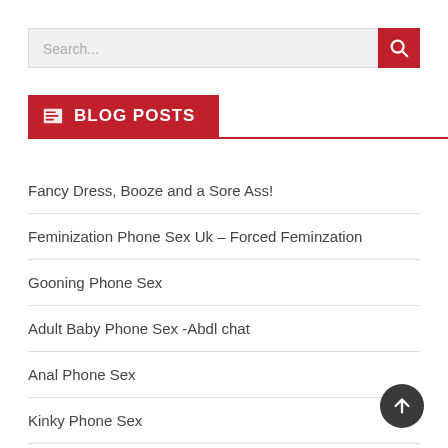[Figure (other): Search bar with text input field reading 'Search...' and a red search button with magnifying glass icon]
BLOG POSTS
Fancy Dress, Booze and a Sore Ass!
Feminization Phone Sex Uk – Forced Feminzation
Gooning Phone Sex
Adult Baby Phone Sex -Abdl chat
Anal Phone Sex
Kinky Phone Sex
Mature Phone Sex
Call Back Phone Sex